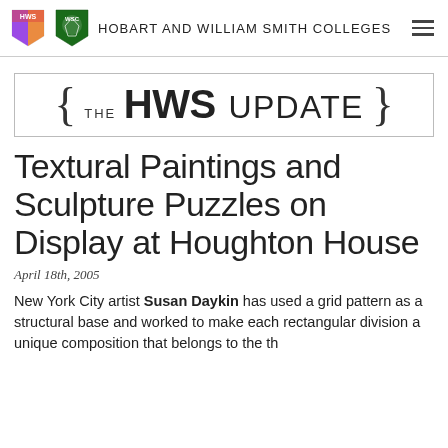HOBART AND WILLIAM SMITH COLLEGES
{ THE HWS UPDATE }
Textural Paintings and Sculpture Puzzles on Display at Houghton House
April 18th, 2005
New York City artist Susan Daykin has used a grid pattern as a structural base and worked to make each rectangular division a unique composition that belongs to the th…